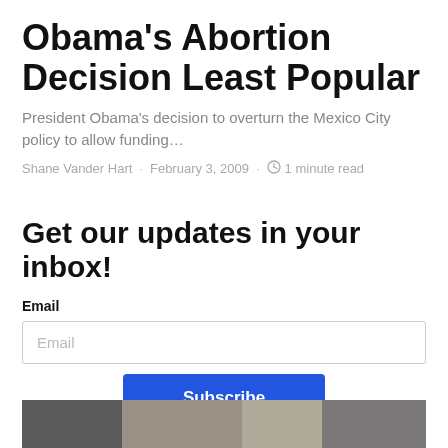Obama's Abortion Decision Least Popular
President Obama's decision to overturn the Mexico City policy to allow funding…
Shane Vander Hart · February 3, 2009 · 🕐 1 minute read
Get our updates in your inbox!
Email
[Figure (screenshot): Email input field with placeholder text 'Email' and a blue Subscribe button below]
[Figure (photo): Partial photograph visible at bottom of page, grayscale/muted tones]